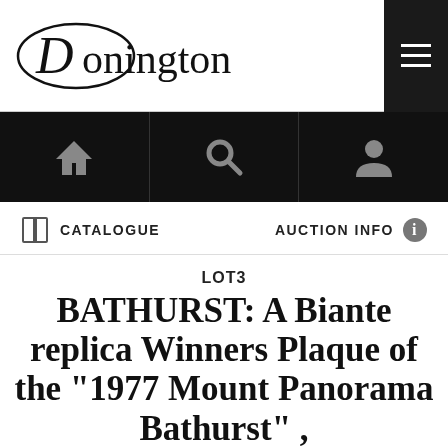Donington
[Figure (screenshot): Navigation bar with home icon, search/magnifier icon, and user/person icon on black background]
CATALOGUE   AUCTION INFO
LOT3
BATHURST: A Biante replica Winners Plaque of the "1977 Mount Panorama Bathurst" ,